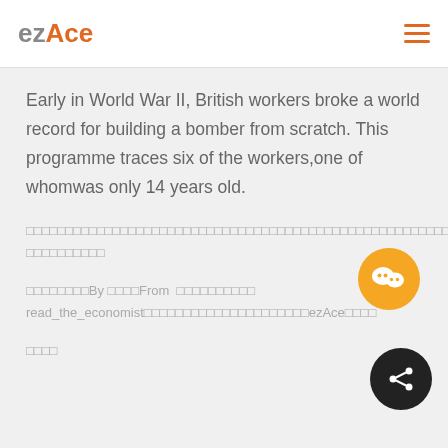ezAce
Early in World War II, British workers broke a world record for building a bomber from scratch. This programme traces six of the workers,one of whomwas only 14 years old.
□□□□□□□□□□□□□□□□□□□□□□□□□□□□□□□□□□□□□□□□□□□□□□□□□□□□□□□□□□□□□□□□□□□□□□□□□□□□□□□□□□□□□□□□□□□□□□□□□□□□□□
□□□□□□□□By □□□□From □□□□□□□□□□ read_the_economist□□□□□□□□□□□□□□□□□□□□□ezAce□□□□
□□□□